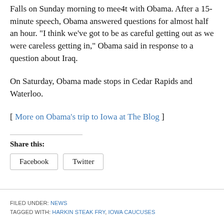Falls on Sunday morning to meet with Obama. After a 15-minute speech, Obama answered questions for almost half an hour. "I think we've got to be as careful getting out as we were careless getting in," Obama said in response to a question about Iraq.
On Saturday, Obama made stops in Cedar Rapids and Waterloo.
[ More on Obama's trip to Iowa at The Blog ]
Share this:
Facebook  Twitter
FILED UNDER: NEWS
TAGGED WITH: HARKIN STEAK FRY, IOWA CAUCUSES